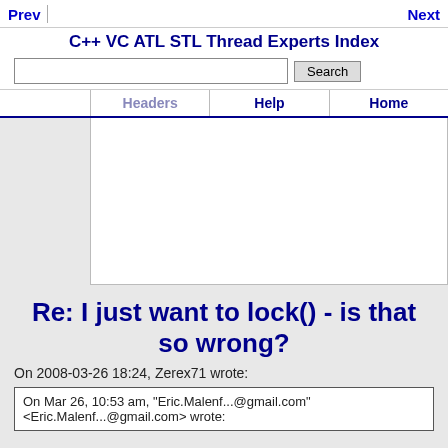Prev | Next | C++ VC ATL STL Thread Experts Index | Search | Headers | Help | Home
[Figure (other): Advertisement/banner area (white rectangle)]
Re: I just want to lock() - is that so wrong?
On 2008-03-26 18:24, Zerex71 wrote:
On Mar 26, 10:53 am, "Eric.Malenf...@gmail.com" <Eric.Malenf...@gmail.com> wrote: